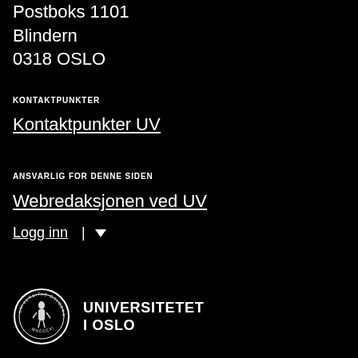Postboks 1161
Blindern
0318 OSLO
KONTAKTPUNKTER
Kontaktpunkter UV
ANSVARLIG FOR DENNE SIDEN
Webredaksjonen ved UV
Logg inn | ▾
[Figure (logo): Universitetet i Oslo seal logo (circular emblem with figure) alongside bold text UNIVERSITETET I OSLO]